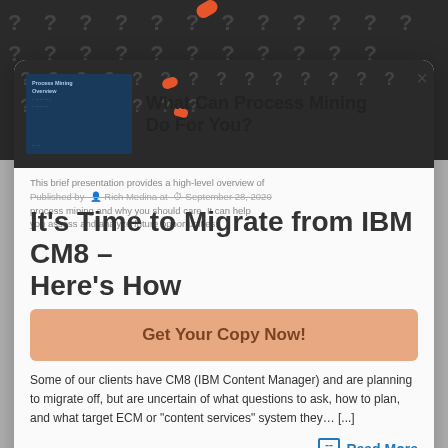[Figure (screenshot): Dark background with scattered question mark symbols and orange accent shapes, showing a modal popup overlay.]
What Can Process Mining Do For You?
This brief presentation provides a high-level overview of process mining and why you should care. It can help you assess and analyze future opportunities.
Published by Rich Medina at September 28, 2020
It's Time to Migrate from IBM CM8 – Here's How
Get Your Copy Now!
Some of our clients have CM8 (IBM Content Manager) and are planning to migrate off, but are uncertain of what questions to ask, how to plan, and what target ECM or "content services" system they… [...]
Read More